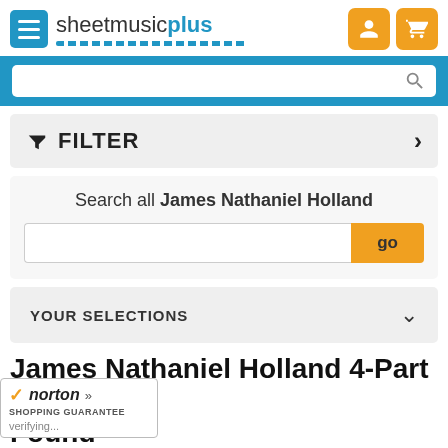[Figure (logo): Sheet Music Plus logo with hamburger menu icon and blue dotted underline]
[Figure (illustration): Orange account icon button]
[Figure (illustration): Orange cart icon button]
FILTER
Search all James Nathaniel Holland
go
YOUR SELECTIONS
James Nathaniel Holland 4-Part Music: 29 Found
[Figure (logo): Norton Shopping Guarantee badge with checkmark, verifying...]